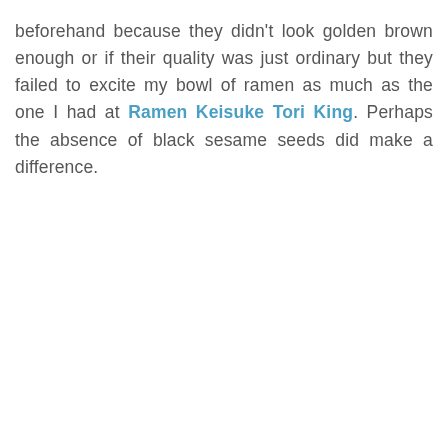beforehand because they didn't look golden brown enough or if their quality was just ordinary but they failed to excite my bowl of ramen as much as the one I had at Ramen Keisuke Tori King. Perhaps the absence of black sesame seeds did make a difference.